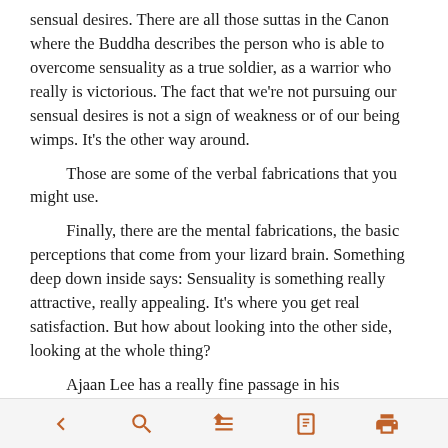sensual desires. There are all those suttas in the Canon where the Buddha describes the person who is able to overcome sensuality as a true soldier, as a warrior who really is victorious. The fact that we're not pursuing our sensual desires is not a sign of weakness or of our being wimps. It's the other way around.

Those are some of the verbal fabrications that you might use.

Finally, there are the mental fabrications, the basic perceptions that come from your lizard brain. Something deep down inside says: Sensuality is something really attractive, really appealing. It's where you get real satisfaction. But how about looking into the other side, looking at the whole thing?

Ajaan Lee has a really fine passage in his autobiography, where he's made up his mind that he wants to disrobe. This was when he was still a very young monk. He decides he should prepare himself mentally for what it's going to be like, so he starts thinking about what would happen. In the beginning, it's a really nice fantasy
< [search] [arrow] [book] [print]